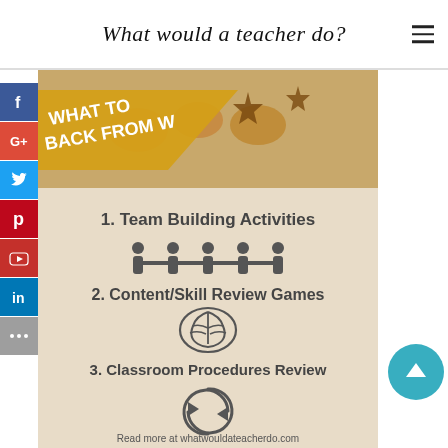What would a teacher do?
[Figure (infographic): Infographic on a tan/beige background with spices photo at top. Title text partly visible: 'WHAT TO... BACK FROM W...' in white bold font on golden/yellow diagonal banner. Lists: 1. Team Building Activities (with people holding hands icon), 2. Content/Skill Review Games (with brain icon), 3. Classroom Procedures Review (with circular arrows icon). Bottom text: 'Read more at whatwouldateacherdo.com']